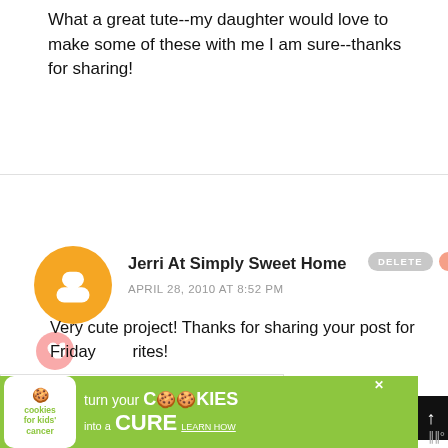What a great tute--my daughter would love to make some of these with me I am sure--thanks for sharing!
Jerri At Simply Sweet Home
APRIL 28, 2010 AT 8:52 PM
Very cute project! Thanks for sharing your post for Friday rites!
[Figure (infographic): WHAT'S NEXT arrow label with Party Tutorial | DIY Cupcake... text and a circular thumbnail image]
[Figure (infographic): Advertisement banner: cookies for kids cancer - turn your COOKIES into a CURE LEARN HOW]
DELETE
REPLY